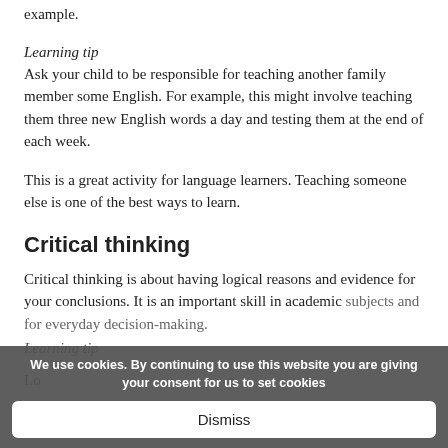example.
Learning tip
Ask your child to be responsible for teaching another family member some English. For example, this might involve teaching them three new English words a day and testing them at the end of each week.
This is a great activity for language learners. Teaching someone else is one of the best ways to learn.
Critical thinking
Critical thinking is about having logical reasons and evidence for your conclusions. It is an important skill in academic subjects and for everyday decision-making.
Learning tip
Lo... ...e
We use cookies. By continuing to use this website you are giving your consent for us to set cookies
Dismiss